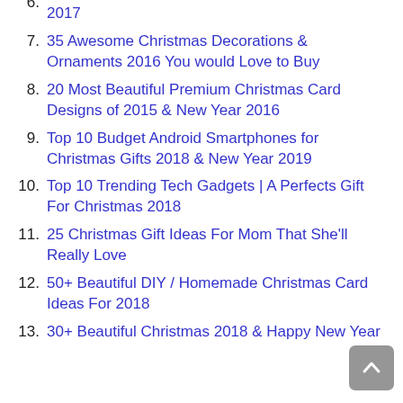6. 30 Fun, Cool & Best Christmas Gifts / Presents You Shouldn't Miss to Give in 2016 & New Year 2017
7. 35 Awesome Christmas Decorations & Ornaments 2016 You would Love to Buy
8. 20 Most Beautiful Premium Christmas Card Designs of 2015 & New Year 2016
9. Top 10 Budget Android Smartphones for Christmas Gifts 2018 & New Year 2019
10. Top 10 Trending Tech Gadgets | A Perfects Gift For Christmas 2018
11. 25 Christmas Gift Ideas For Mom That She'll Really Love
12. 50+ Beautiful DIY / Homemade Christmas Card Ideas For 2018
13. 30+ Beautiful Christmas 2018 & Happy New Year